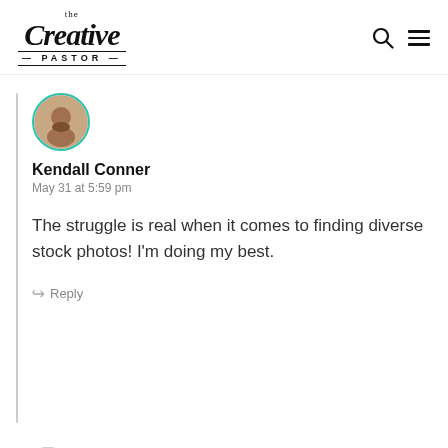the Creative Pastor
[Figure (screenshot): User comment with avatar, name Kendall Conner, date May 31 at 5:59 pm, and comment text about finding diverse stock photos, with a Reply link]
[Figure (illustration): Generic user avatar circle at bottom of page]